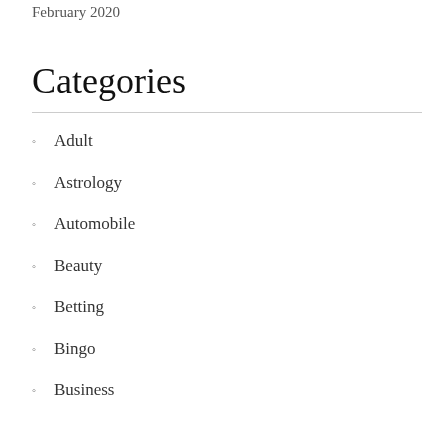February 2020
Categories
Adult
Astrology
Automobile
Beauty
Betting
Bingo
Business